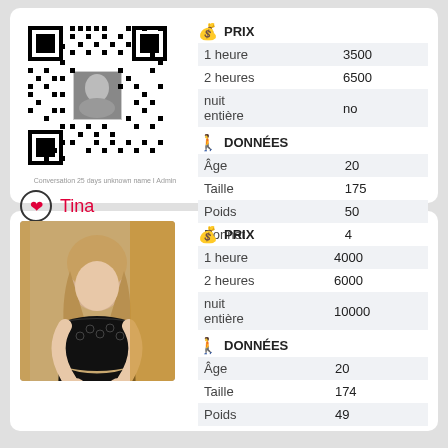[Figure (photo): QR code image with a small photo in the center]
Conversation 25 days unknown name I Admin
Tina
Jufeng Road
380985785823
|  |  |
| --- | --- |
| 1 heure | 3500 |
| 2 heures | 6500 |
| nuit entière | no |
|  |  |
| --- | --- |
| Âge | 20 |
| Taille | 175 |
| Poids | 50 |
| Bonnet | 4 |
[Figure (photo): Woman in black lace lingerie against a gold/beige background]
|  |  |
| --- | --- |
| 1 heure | 4000 |
| 2 heures | 6000 |
| nuit entière | 10000 |
|  |  |
| --- | --- |
| Âge | 20 |
| Taille | 174 |
| Poids | 49 |